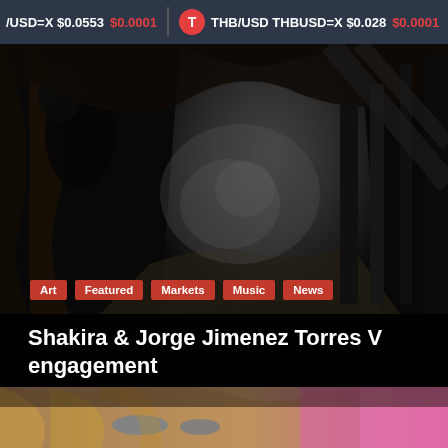/USD=X $0.0553 $0.0001   T   THB/USD THBUSD=X $0.028 $0.0001
[Figure (photo): Dark cave or underground scene with dramatic lighting and rocky surfaces]
Art
Featured
Markets
Music
News
Shakira & Jorge Jimenez Torres V engagement
[Figure (photo): Close-up of a blonde woman's face with blue eyes]
We are using cookies to give you the best experience on our website.
You can find out more about which cookies we are using or switch them off in settings.
Accept   Reject   Translate »